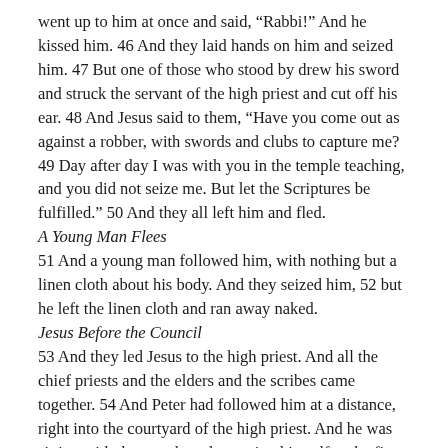went up to him at once and said, “Rabbi!” And he kissed him. 46 And they laid hands on him and seized him. 47 But one of those who stood by drew his sword and struck the servant of the high priest and cut off his ear. 48 And Jesus said to them, “Have you come out as against a robber, with swords and clubs to capture me? 49 Day after day I was with you in the temple teaching, and you did not seize me. But let the Scriptures be fulfilled.” 50 And they all left him and fled.
A Young Man Flees
51 And a young man followed him, with nothing but a linen cloth about his body. And they seized him, 52 but he left the linen cloth and ran away naked.
Jesus Before the Council
53 And they led Jesus to the high priest. And all the chief priests and the elders and the scribes came together. 54 And Peter had followed him at a distance, right into the courtyard of the high priest. And he was sitting with the guards and warming himself at the fire. 55 Now the chief priests and the whole council were seeking testimony